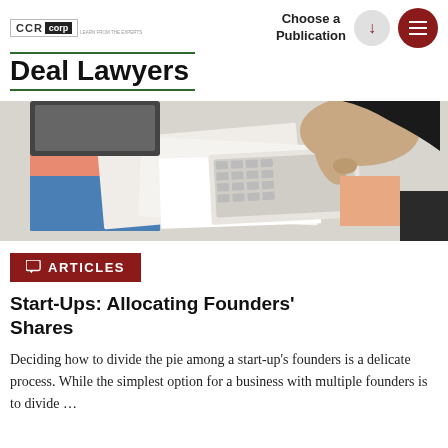[Figure (logo): CCR corp logo with tagline]
Choose a Publication
Deal Lawyers
[Figure (photo): A hand pointing at a calculator on a desk with financial documents and charts]
ARTICLES
Start-Ups: Allocating Founders' Shares
Deciding how to divide the pie among a start-up's founders is a delicate process. While the simplest option for a business with multiple founders is to divide …